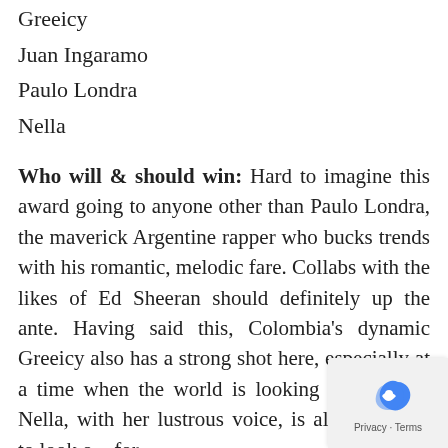Greeicy
Juan Ingaramo
Paulo Londra
Nella
Who will & should win: Hard to imagine this award going to anyone other than Paulo Londra, the maverick Argentine rapper who bucks trends with his romantic, melodic fare. Collabs with the likes of Ed Sheeran should definitely up the ante. Having said this, Colombia's dynamic Greeicy also has a strong shot here, especially at a time when the world is looking for women. Nella, with her lustrous voice, is also someone to look out for.